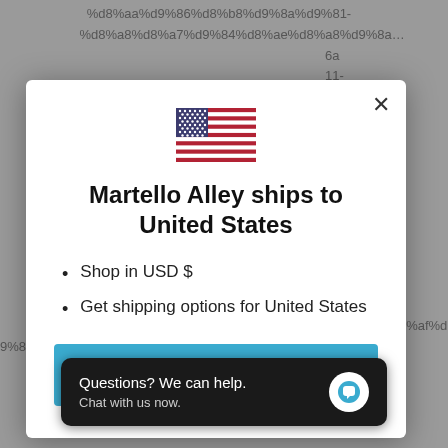%d8%aa%d9%86%d8%b8%d9%8a%d9%81- %d8%a8%d8%a7%d9%84%d8%ae%d8%a8 6a 1- 79 6a 1- 79
[Figure (illustration): US flag emoji/icon]
Martello Alley ships to United States
Shop in USD $
Get shipping options for United States
Shop now
Questions? We can help. Chat with us now.